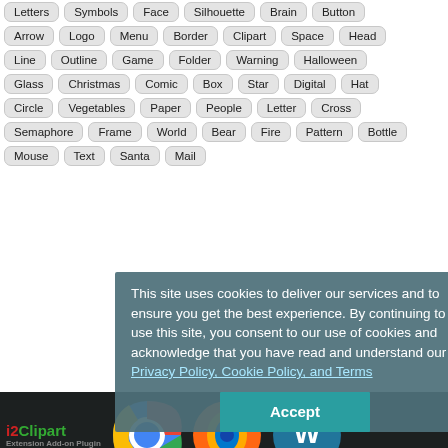Letters  Symbols  Face  Silhouette  Brain  Button
Arrow  Logo  Menu  Border  Clipart  Space  Head
Line  Outline  Game  Folder  Warning  Halloween
Glass  Christmas  Comic  Box  Star  Digital  Hat
Circle  Vegetables  Paper  People  Letter  Cross
Semaphore  Frame  World  Bear  Fire  Pattern  Bottle
Mouse  Text  Santa  Mail
This site uses cookies to deliver our services and to ensure you get the best experience. By continuing to use this site, you consent to our use of cookies and acknowledge that you have read and understand our Privacy Policy, Cookie Policy, and Terms
[Figure (screenshot): i2Clipart logo and browser extension icons (Chrome, Firefox, WordPress) on dark background]
Free Useful Tools
أخبار و قنوات عربية
日本語日本語日本語日本語日本語
Emoticons - Symbols - Memes